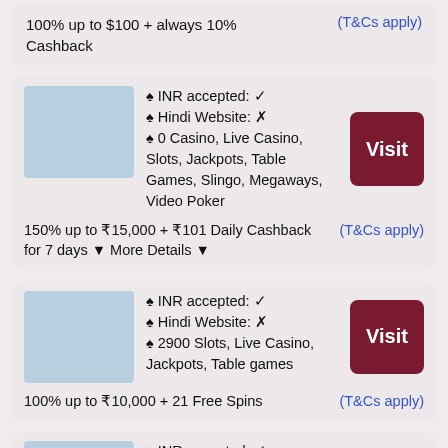100% up to $100 + always 10% Cashback
(T&Cs apply)
♠ INR accepted: ✓
♠ Hindi Website: ✗
♠ 0 Casino, Live Casino, Slots, Jackpots, Table Games, Slingo, Megaways, Video Poker
150% up to ₹15,000 + ₹101 Daily Cashback for 7 days ▼ More Details ▼
(T&Cs apply)
♠ INR accepted: ✓
♠ Hindi Website: ✗
♠ 2900 Slots, Live Casino, Jackpots, Table games
100% up to ₹10,000 + 21 Free Spins
(T&Cs apply)
♠ INR accepted: ✓
♠ Hindi Website: ✗
♠ 2900 Casino, Live Casino